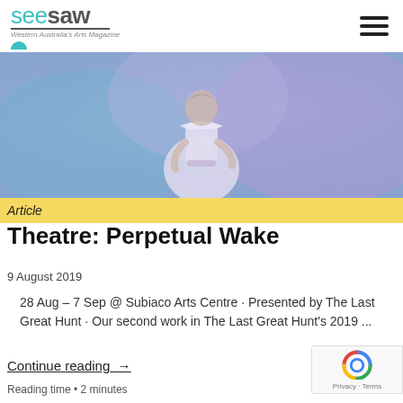seesaw — Western Australia's Arts Magazine
[Figure (photo): A performer in a white ruffled dress against a blue and purple smoky background]
Article
Theatre: Perpetual Wake
9 August 2019
28 Aug – 7 Sep @ Subiaco Arts Centre · Presented by The Last Great Hunt · Our second work in The Last Great Hunt's 2019 ...
Continue reading →
Reading time • 2 minutes